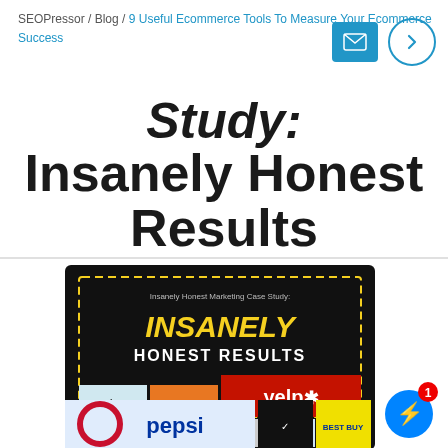SEOPressor / Blog / 9 Useful Ecommerce Tools To Measure Your Ecommerce Success
Study: Insanely Honest Results
[Figure (illustration): Book cover titled 'Insanely Honest Marketing Case Study: INSANELY HONEST RESULTS' with a dark background, yellow dashed border, and brand logos including WebMD, Yelp, Gillette, Wikipedia, LinkedIn, Pepsi, Nike, Best Buy at the bottom.]
[Figure (illustration): Facebook Messenger icon (blue circle with lightning bolt) with a red notification badge showing '1']